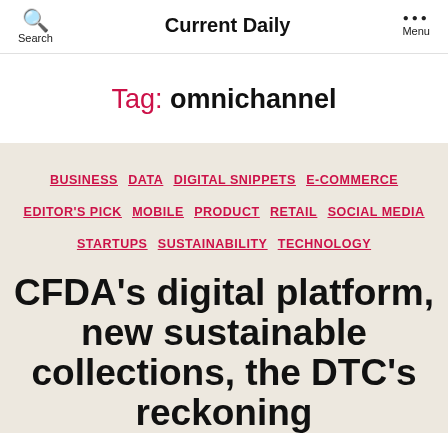Search  Current Daily  Menu
Tag: omnichannel
BUSINESS  DATA  DIGITAL SNIPPETS  E-COMMERCE  EDITOR'S PICK  MOBILE  PRODUCT  RETAIL  SOCIAL MEDIA  STARTUPS  SUSTAINABILITY  TECHNOLOGY
CFDA's digital platform, new sustainable collections, the DTC's reckoning